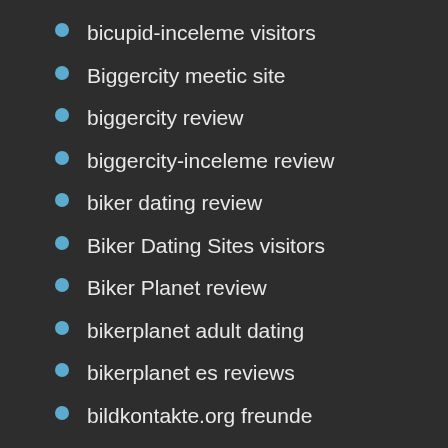bicupid-inceleme visitors
Biggercity meetic site
biggercity review
biggercity-inceleme review
biker dating review
Biker Dating Sites visitors
Biker Planet review
bikerplanet adult dating
bikerplanet es reviews
bildkontakte.org freunde
bile seznamky crossdresser seznamovaci aplikace zdarma
billings eros escort
billings escort
billings escort review